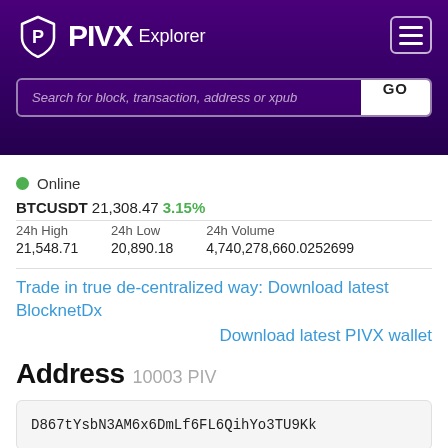PIVX Explorer
Search for block, transaction, address or xpub
Online
BTCUSDT 21,308.47 3.15%
| 24h High | 24h Low | 24h Volume |
| --- | --- | --- |
| 21,548.71 | 20,890.18 | 4,740,278,660.0252699 |
Trade in true de-centralized way: Download latest BlocknetDx
Download latest PIVX wallet
Address 10003 PIV
D867tYsbN3AM6x6DmLf6FL6QihYo3TU9Kk